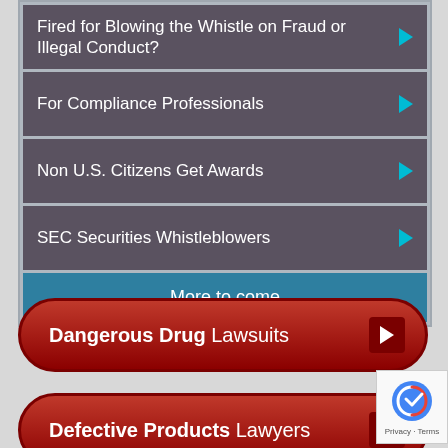Fired for Blowing the Whistle on Fraud or Illegal Conduct?
For Compliance Professionals
Non U.S. Citizens Get Awards
SEC Securities Whistleblowers
More to come
Dangerous Drug Lawsuits
Defective Products Lawyers